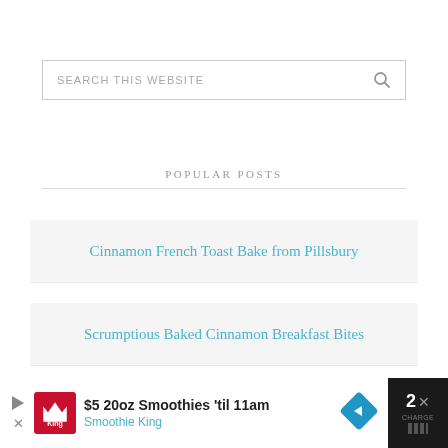SEARCH THIS WEBSITE
POPULAR POSTS
Cinnamon French Toast Bake from Pillsbury
Scrumptious Baked Cinnamon Breakfast Bites
Chocolate Chunk Banana Bread Cookies
$5 20oz Smoothies 'til 11am Smoothie King